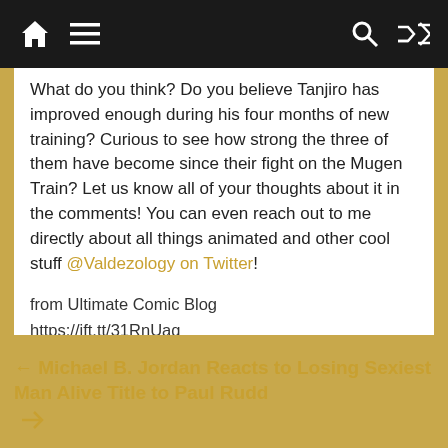Home | Menu | Search | Shuffle
What do you think? Do you believe Tanjiro has improved enough during his four months of new training? Curious to see how strong the three of them have become since their fight on the Mugen Train? Let us know all of your thoughts about it in the comments! You can even reach out to me directly about all things animated and other cool stuff @Valdezology on Twitter!
from Ultimate Comic Blog
https://ift.tt/31RnUaq
via IFTTT
← Michael B. Jordan Reacts to Losing Sexiest Man Alive Title to Paul Rudd